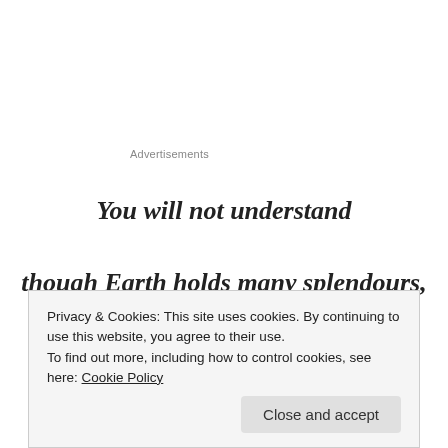Advertisements
You will not understand
though Earth holds many splendours,
Wherever I may die,
I know to what brown country,
Privacy & Cookies: This site uses cookies. By continuing to use this website, you agree to their use.
To find out more, including how to control cookies, see here: Cookie Policy
Close and accept